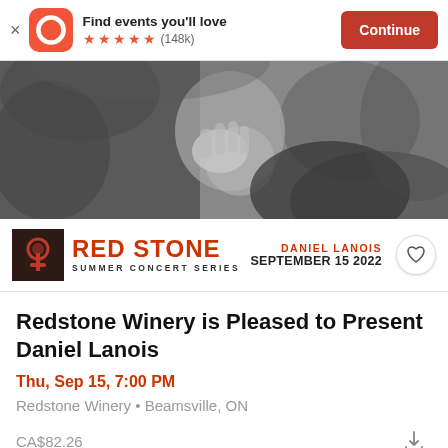Find events you'll love ★★★★★ (148k) Continue
[Figure (photo): Black and white photo of a person with hand near face, surrounded by foliage]
[Figure (logo): Red Stone Summer Concert Series logo with Daniel Lanois September 15 2022]
Redstone Winery is Pleased to Present Daniel Lanois
Thu, Sep 15, 7:00 PM
Redstone Winery • Beamsville, ON
CA$82.26